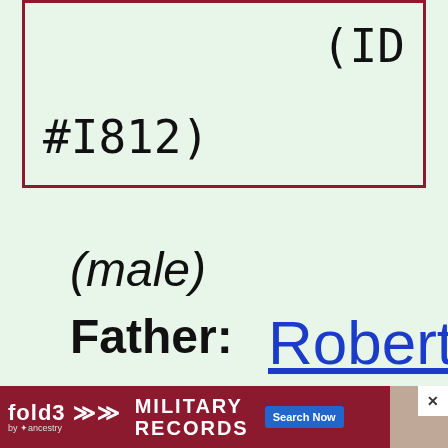(ID #I812)
(male)
Father: Robert William
[Figure (infographic): fold3 by Ancestry advertisement banner for Military Records with Search Now button]